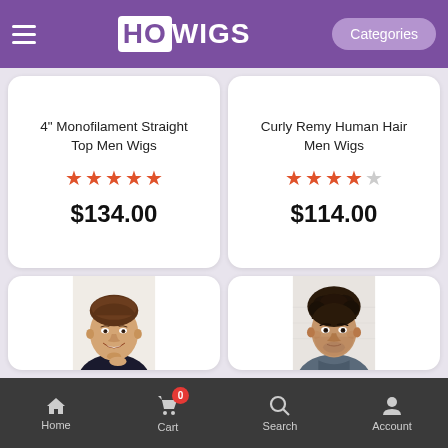HO WIGS — Categories
4" Monofilament Straight Top Men Wigs — ★★★★★ — $134.00
Curly Remy Human Hair Men Wigs — ★★★★☆ — $114.00
[Figure (photo): Smiling man with brown hair wearing a wig, white background]
[Figure (photo): Young man with curly dark hair wearing a wig, white brick background]
Home | Cart (0) | Search | Account